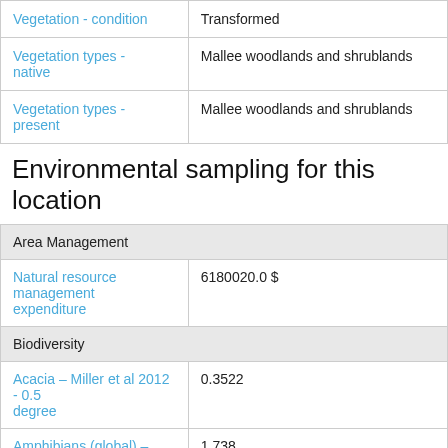| Field | Value |
| --- | --- |
| Vegetation - condition | Transformed |
| Vegetation types - native | Mallee woodlands and shrublands |
| Vegetation types - present | Mallee woodlands and shrublands |
Environmental sampling for this location
| Field | Value |
| --- | --- |
| Area Management |  |
| Natural resource management expenditure | 6180020.0 $ |
| Biodiversity |  |
| Acacia – Miller et al 2012 - 0.5 degree | 0.3522 |
| Amphibians (global) – Pyron & Wiens 2011 - 0.5 degree | 1.738 |
| Endemism | 0.013451196 |